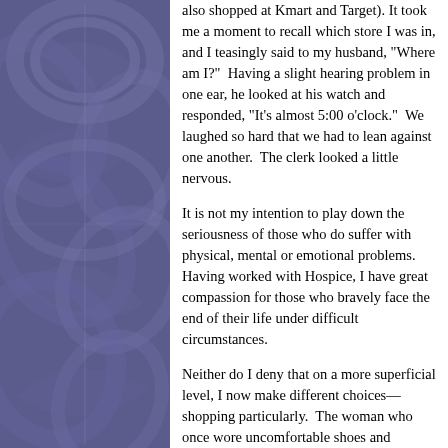[Figure (illustration): Decorative left panel with a blue-purple floral/leaf pattern background illustration]
also shopped at Kmart and Target). It took me a moment to recall which store I was in, and I teasingly said to my husband, "Where am I?" Having a slight hearing problem in one ear, he looked at his watch and responded, "It's almost 5:00 o'clock." We laughed so hard that we had to lean against one another. The clerk looked a little nervous.
It is not my intention to play down the seriousness of those who do suffer with physical, mental or emotional problems. Having worked with Hospice, I have great compassion for those who bravely face the end of their life under difficult circumstances.
Neither do I deny that on a more superficial level, I now make different choices—shopping particularly. The woman who once wore uncomfortable shoes and control-top pantyhose has died. Please don't mourn that woman. She has found heaven right here on earth in comfortable, but hopefully still